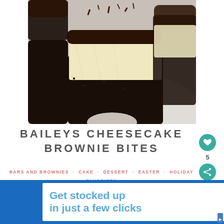[Figure (photo): Close-up photo of Baileys cheesecake brownie bites on a white plate. The brownie bites have layers of dark chocolate brownie base, creamy cheesecake filling, and are topped with chocolate ganache and chocolate shavings. One bite has been taken out of the front piece.]
BAILEYS CHEESECAKE BROWNIE BITES
BARS AND BROWNIES · CAKE · DESSERT · EASTER · HOLIDAY FAVORITES
April 11, 2022
[Figure (infographic): Advertisement banner: 'Get stocked up in just a few clicks' with blue background on left and white background with blue text on right.]